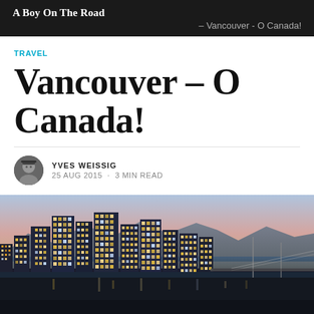A Boy On The Road – Vancouver - O Canada!
TRAVEL
Vancouver – O Canada!
YVES WEISSIG · 25 AUG 2015 · 3 MIN READ
[Figure (photo): Aerial night view of Vancouver skyline with city lights, mountains in background, and water in the distance at dusk]